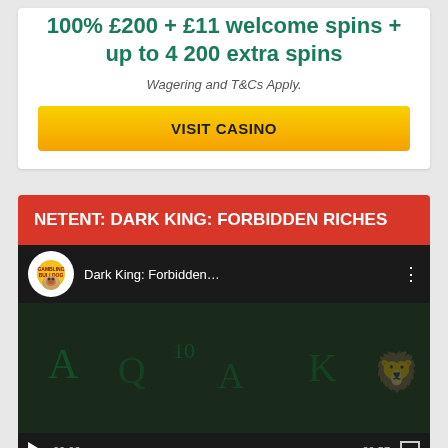100% £200 + £11 welcome spins + up to 4 200 extra spins
Wagering and T&Cs Apply.
VISIT CASINO
NETENT: DARK KING: FORBIDDEN RICHES
[Figure (screenshot): YouTube video thumbnail for Dark King: Forbidden... by Gambling Bulldog channel, with play button overlay and video controls showing 00:00 / 00:57]